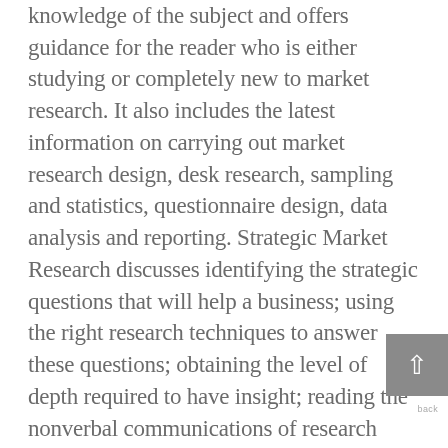knowledge of the subject and offers guidance for the reader who is either studying or completely new to market research. It also includes the latest information on carrying out market research design, desk research, sampling and statistics, questionnaire design, data analysis and reporting. Strategic Market Research discusses identifying the strategic questions that will help a business; using the right research techniques to answer these questions; obtaining the level of depth required to have insight; reading the nonverbal communications of research respondents when doing qualitative work; identifying the emotional aspects of human behavior; using statistical analyses to understand what drives markets; going beyond the data to interpret the results and make strategic recommendations. The book can be a useful reference for practitioners and excellent supplementary reading material for students. A marketing ... This new title is the definitive guide to business to business market research. Containing the very latest